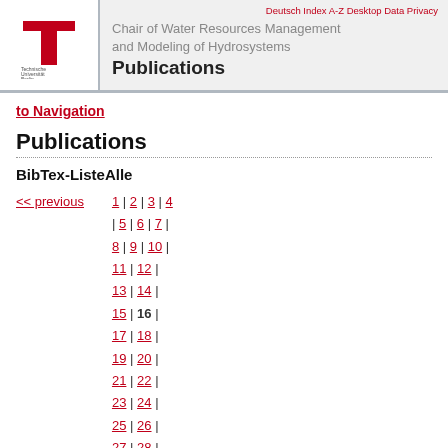Chair of Water Resources Management and Modeling of Hydrosystems — Publications
to Navigation
Publications
BibTex-ListeAlle
<< previous  1 | 2 | 3 | 4 | 5 | 6 | 7 | 8 | 9 | 10 | 11 | 12 | 13 | 14 | 15 | 16 | 17 | 18 | 19 | 20 | 21 | 22 | 23 | 24 | 25 | 26 | 27 | 28 |